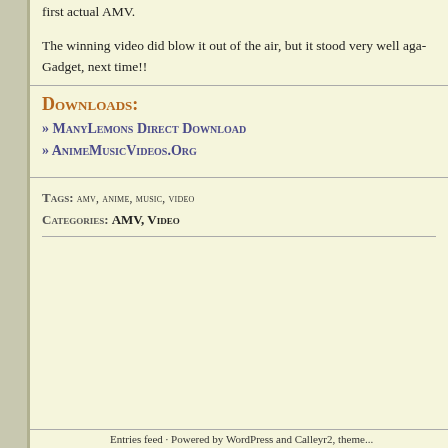first actual AMV.
The winning video did blow it out of the air, but it stood very well aga... Gadget, next time!!
Downloads:
» ManyLemons Direct Download
» AnimeMusicVideos.Org
Tags: amv, anime, music, video
Categories: AMV, Video
Entries feed · Powered by WordPress and Callery2, theme...